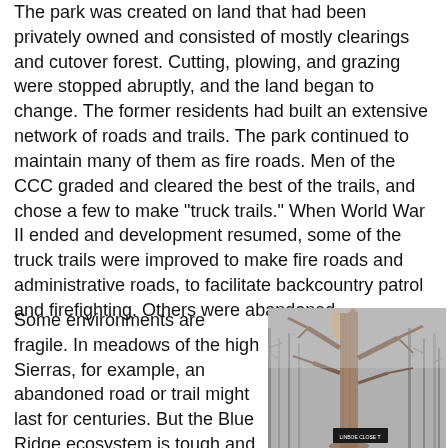The park was created on land that had been privately owned and consisted of mostly clearings and cutover forest. Cutting, plowing, and grazing were stopped abruptly, and the land began to change. The former residents had built an extensive network of roads and trails. The park continued to maintain many of them as fire roads. Men of the CCC graded and cleared the best of the trails, and chose a few to make "truck trails." When World War II ended and development resumed, some of the truck trails were improved to make fire roads and administrative roads, to facilitate backcountry patrol and firefighting. Others were abandoned.
Some environments are fragile. In meadows of the high Sierras, for example, an abandoned road or trail might last for centuries. But the Blue Ridge ecosystem is tough and resilient. An abandoned trail will disappear within a few
[Figure (photo): Black and white photograph of a large dead or damaged tree with bare branches in a forest setting. A small sign is visible at the base of the tree.]